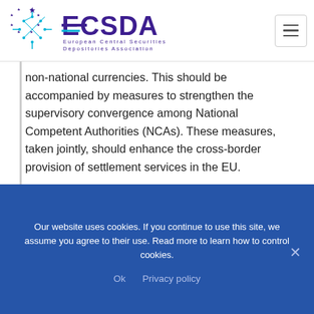[Figure (logo): ECSDA logo — European Central Securities Depositories Association logo with circuit-board star graphic in blue/purple and teal, and purple text 'ECSDA' with full name below]
non-national currencies. This should be accompanied by measures to strengthen the supervisory convergence among National Competent Authorities (NCAs). These measures, taken jointly, should enhance the cross-border provision of settlement services in the EU.
Justification
A targeted review could usefully tackle the following
Our website uses cookies. If you continue to use this site, we assume you agree to their use. Read more to learn how to control cookies.